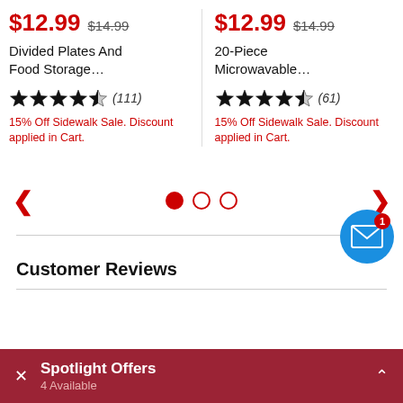$12.99  $14.99
Divided Plates And Food Storage...
★★★★½ (111)
15% Off Sidewalk Sale. Discount applied in Cart.
$12.99  $14.99
20-Piece Microwavable...
★★★★½ (61)
15% Off Sidewalk Sale. Discount applied in Cart.
[Figure (infographic): Carousel navigation with left and right red arrows and three dots (first filled red, two empty)]
Customer Reviews
[Figure (infographic): Blue circular mail/message icon with red badge showing number 1]
Spotlight Offers
4 Available